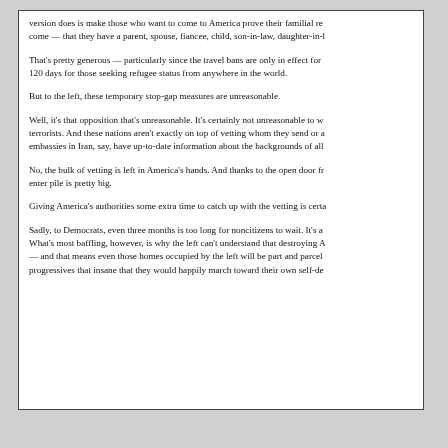version does is make those who want to come to America prove their familial re come — that they have a parent, spouse, fiancee, child, son-in-law, daughter-in-l
That's pretty generous — particularly since the travel bans are only in effect for 120 days for those seeking refugee status from anywhere in the world.
But to the left, these temporary stop-gap measures are unreasonable.
Well, it's that opposition that's unreasonable. It's certainly not unreasonable to w terrorists. And these nations aren't exactly on top of vetting whom they send or a embassies in Iran, say, have up-to-date information about the backgrounds of all
No, the bulk of vetting is left in America's hands. And thanks to the open door fr enter pile is pretty big.
Giving America's authorities some extra time to catch up with the vetting is certa
Sadly, to Democrats, even three months is too long for noncitizens to wait. It's a What's most baffling, however, is why the left can't understand that destroying A — and that means even those homes occupied by the left will be part and parcel progressives that insane that they would happily march toward their own self-de